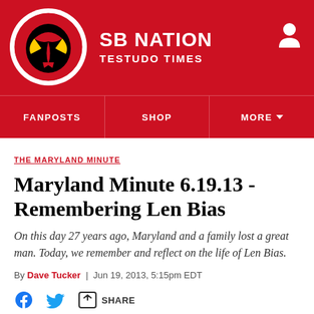SB NATION - TESTUDO TIMES
THE MARYLAND MINUTE
Maryland Minute 6.19.13 - Remembering Len Bias
On this day 27 years ago, Maryland and a family lost a great man. Today, we remember and reflect on the life of Len Bias.
By Dave Tucker | Jun 19, 2013, 5:15pm EDT